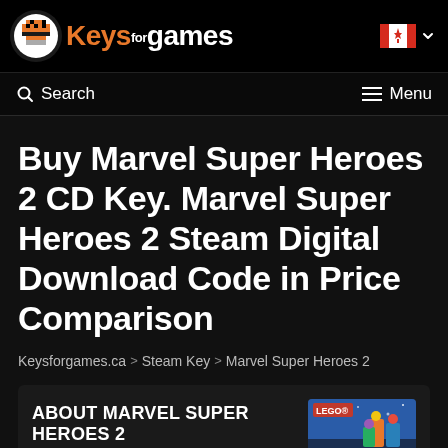Keysforgames logo — Keys for games, Canadian flag with dropdown
Search   Menu
Buy Marvel Super Heroes 2 CD Key. Marvel Super Heroes 2 Steam Digital Download Code in Price Comparison
Keysforgames.ca > Steam Key > Marvel Super Heroes 2
ABOUT MARVEL SUPER HEROES 2